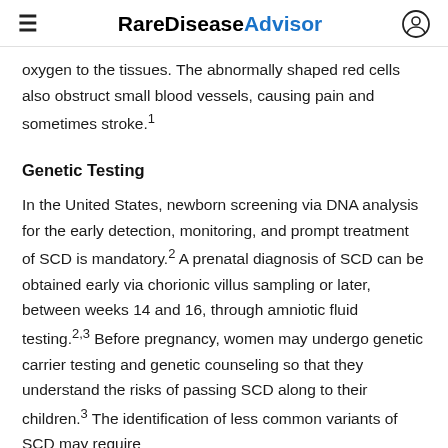RareDiseaseAdvisor
oxygen to the tissues. The abnormally shaped red cells also obstruct small blood vessels, causing pain and sometimes stroke.1
Genetic Testing
In the United States, newborn screening via DNA analysis for the early detection, monitoring, and prompt treatment of SCD is mandatory.2 A prenatal diagnosis of SCD can be obtained early via chorionic villus sampling or later, between weeks 14 and 16, through amniotic fluid testing.2,3 Before pregnancy, women may undergo genetic carrier testing and genetic counseling so that they understand the risks of passing SCD along to their children.3 The identification of less common variants of SCD may require